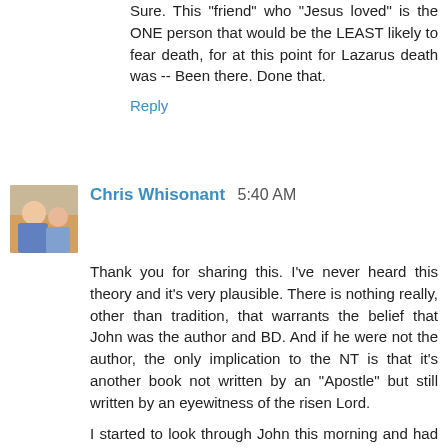Sure. This "friend" who "Jesus loved" is the ONE person that would be the LEAST likely to fear death, for at this point for Lazarus death was -- Been there. Done that.
Reply
Chris Whisonant  5:40 AM
Thank you for sharing this. I've never heard this theory and it's very plausible. There is nothing really, other than tradition, that warrants the belief that John was the author and BD. And if he were not the author, the only implication to the NT is that it's another book not written by an "Apostle" but still written by an eyewitness of the risen Lord.
I started to look through John this morning and had a few thoughts I would like to share. I saw that only David mentioned one of them in the 3rd comment above mine.
Before that, I know that it will be said that my argument is one from silence. This seems to be a standard reply here... The whole premise that Lazarus = BD is also one of silence. Jesus is said to have loved a lot of people - not just